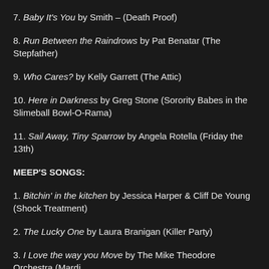7. Baby It's You by Smith – (Death Proof)
8. Run Between the Raindrows by Pat Benatar (The Stepfather)
9. Who Cares? by Kelly Garrett (The Attic)
10. Here in Darkness by Greg Stone (Sorority Babes in the Slimeball Bowl-O-Rama)
11. Sail Away, Tiny Sparrow by Angela Rotella (Friday the 13th)
MEEP'S SONGS:
1. Bitchin' in the kitchen by Jessica Harper & Cliff De Young (Shock Treatment)
2. The Lucky One by Laura Branigan (Killer Party)
3. I Love the way you Move by The Mike Theodore Orchestra (Mardi